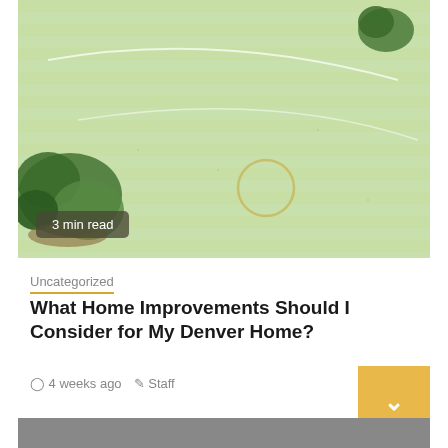[Figure (photo): Aerial or wide-angle photo of a well-manicured green lawn with trimmed shrubs/bushes on the left and upper right, with curved white lawn lines visible. A small circular yellow/brown patch is visible near center. Badge overlay reads '3 min read'.]
Uncategorized
What Home Improvements Should I Consider for My Denver Home?
4 weeks ago   Staff